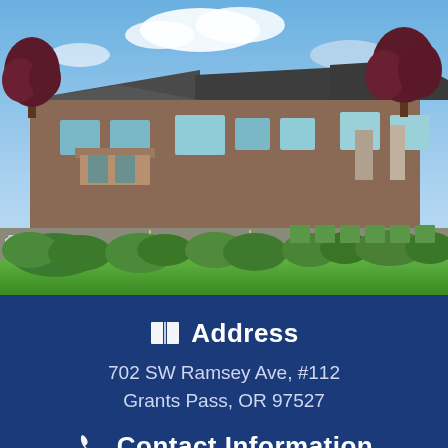[Figure (photo): Exterior photo of a brown commercial building with a sloped dark roof, surrounded by green lawns, trimmed hedges, ornamental purple-leafed trees, and a parking lot under a partly cloudy sky.]
Address
702 SW Ramsey Ave, #112
Grants Pass, OR 97527
Contact Information